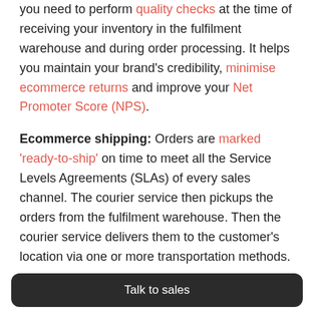you need to perform quality checks at the time of receiving your inventory in the fulfilment warehouse and during order processing. It helps you maintain your brand's credibility, minimise ecommerce returns and improve your Net Promoter Score (NPS).
Ecommerce shipping: Orders are marked 'ready-to-ship' on time to meet all the Service Levels Agreements (SLAs) of every sales channel. The courier service then pickups the orders from the fulfilment warehouse. Then the courier service delivers them to the customer's location via one or more transportation methods.
Talk to sales